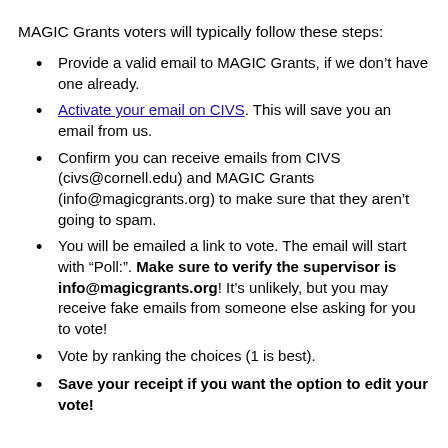MAGIC Grants voters will typically follow these steps:
Provide a valid email to MAGIC Grants, if we don't have one already.
Activate your email on CIVS. This will save you an email from us.
Confirm you can receive emails from CIVS (civs@cornell.edu) and MAGIC Grants (info@magicgrants.org) to make sure that they aren't going to spam.
You will be emailed a link to vote. The email will start with “Poll:”. Make sure to verify the supervisor is info@magicgrants.org! It’s unlikely, but you may receive fake emails from someone else asking for you to vote!
Vote by ranking the choices (1 is best).
Save your receipt if you want the option to edit your vote!